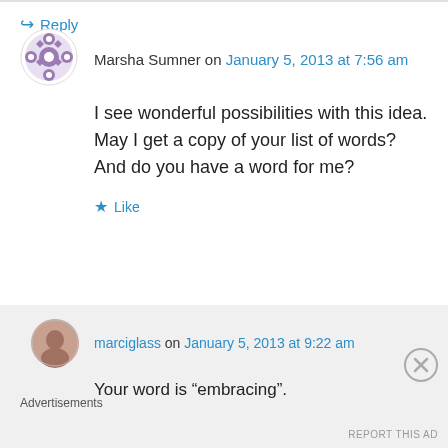Marsha Sumner on January 5, 2013 at 7:56 am
I see wonderful possibilities with this idea. May I get a copy of your list of words? And do you have a word for me?
Like
Reply
marciglass on January 5, 2013 at 9:22 am
Your word is “embracing”.
Advertisements